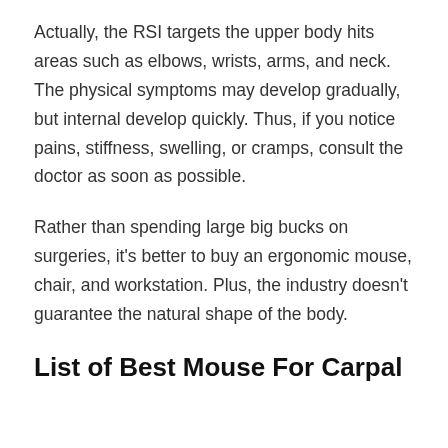Actually, the RSI targets the upper body hits areas such as elbows, wrists, arms, and neck. The physical symptoms may develop gradually, but internal develop quickly. Thus, if you notice pains, stiffness, swelling, or cramps, consult the doctor as soon as possible.
Rather than spending large big bucks on surgeries, it's better to buy an ergonomic mouse, chair, and workstation. Plus, the industry doesn't guarantee the natural shape of the body.
List of Best Mouse For Carpal